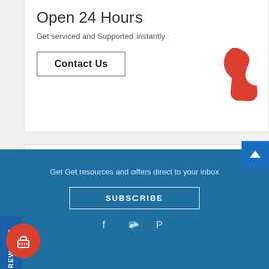Open 24 Hours
Get serviced and Supported instantly
Contact Us
HAVE QUESTIONS?
Check our FAQs
for most product and service questions.
View FAQs
Rewards
Get Get resources and offers direct to your inbox
SUBSCRIBE